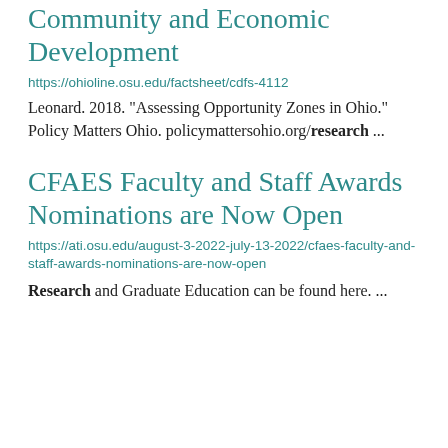Community and Economic Development
https://ohioline.osu.edu/factsheet/cdfs-4112
Leonard. 2018. "Assessing Opportunity Zones in Ohio." Policy Matters Ohio. policymattersohio.org/research ...
CFAES Faculty and Staff Awards Nominations are Now Open
https://ati.osu.edu/august-3-2022-july-13-2022/cfaes-faculty-and-staff-awards-nominations-are-now-open
Research and Graduate Education can be found here. ...